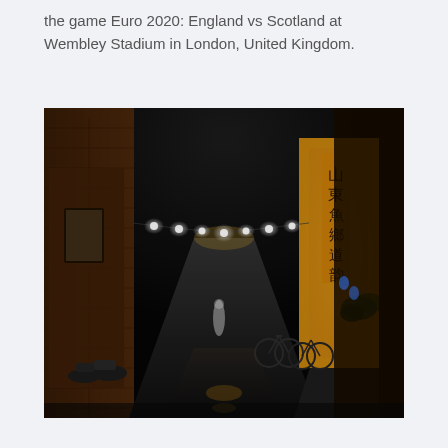the game Euro 2020: England vs Scotland at Wembley Stadium in London, United Kingdom.
[Figure (photo): Night street scene in an Asian old town. A narrow street with old weathered buildings on both sides. String lights hang across the street. A yellow building with Chinese characters on a vertical sign is visible on the right. Bicycles are parked along the street. The wet street reflects the lights. A blurred figure of a person is visible in the middle of the street.]